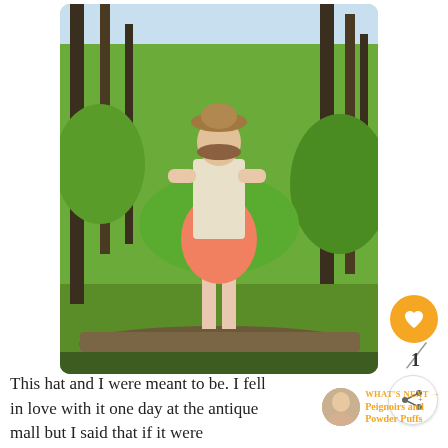[Figure (photo): Woman standing on a fallen log in a forest, wearing a peach/coral skirt, cream lace top, and a brown hat. Surrounded by green trees and brush in bright sunlight.]
WHAT'S NEXT → Peignoirs and Powder Puffs
This hat and I were meant to be. I fell in love with it one day at the antique mall but I said that if it were